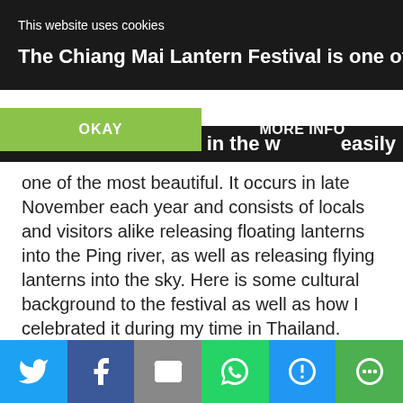[Figure (screenshot): Dark header banner showing website title 'The Chiang Mai Lantern Festival is one of the']
This website uses cookies
[Figure (screenshot): Cookie consent bar with OKAY button (green) and MORE INFO button]
one of the most beautiful. It occurs in late November each year and consists of locals and visitors alike releasing floating lanterns into the Ping river, as well as releasing flying lanterns into the sky. Here is some cultural background to the festival as well as how I celebrated it during my time in Thailand.
This post contains affiliate links. Should you decide to purchase something from one of my affiliates I will receive a small commission at no extra cost to
[Figure (screenshot): Social share bar at bottom with Twitter, Facebook, Email, WhatsApp, SMS, and More buttons]